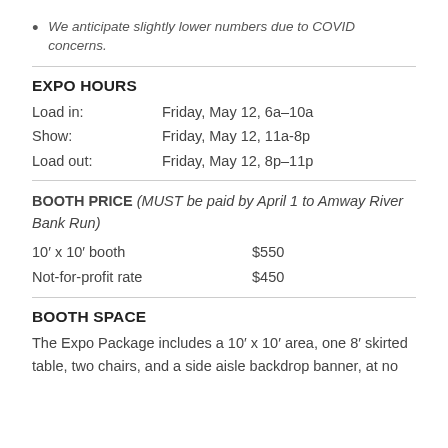We anticipate slightly lower numbers due to COVID concerns.
EXPO HOURS
Load in: Friday, May 12, 6a–10a
Show: Friday, May 12, 11a-8p
Load out: Friday, May 12, 8p–11p
BOOTH PRICE (MUST be paid by April 1 to Amway River Bank Run)
10′ x 10′ booth   $550
Not-for-profit rate   $450
BOOTH SPACE
The Expo Package includes a 10′ x 10′ area, one 8′ skirted table, two chairs, and a side aisle backdrop banner, at no